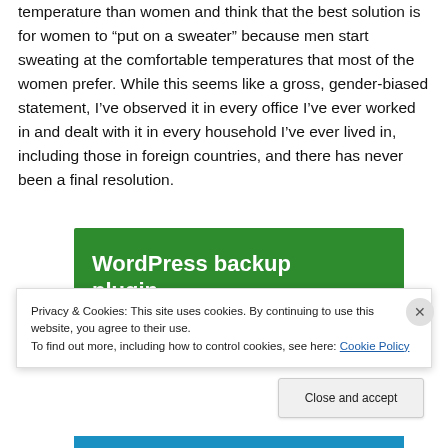temperature than women and think that the best solution is for women to “put on a sweater” because men start sweating at the comfortable temperatures that most of the women prefer. While this seems like a gross, gender-biased statement, I’ve observed it in every office I’ve ever worked in and dealt with it in every household I’ve ever lived in, including those in foreign countries, and there has never been a final resolution.
[Figure (other): WordPress backup plugin advertisement banner with green background and white bold text]
Privacy & Cookies: This site uses cookies. By continuing to use this website, you agree to their use.
To find out more, including how to control cookies, see here: Cookie Policy